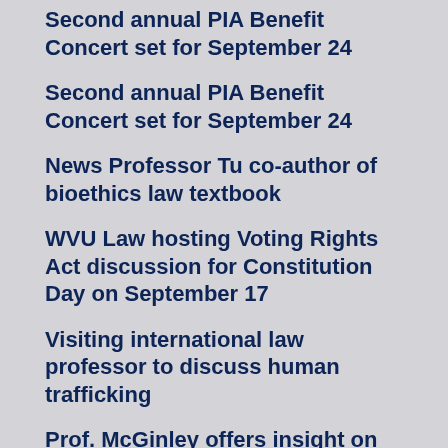Second annual PIA Benefit Concert set for September 24
Second annual PIA Benefit Concert set for September 24
News Professor Tu co-author of bioethics law textbook
WVU Law hosting Voting Rights Act discussion for Constitution Day on September 17
Visiting international law professor to discuss human trafficking
Prof. McGinley offers insight on